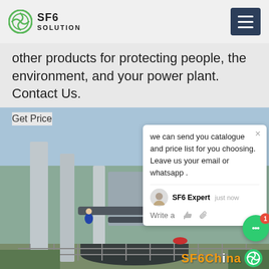SF6 SOLUTION
other products for protecting people, the environment, and your power plant. Contact Us.
Get Price
[Figure (photo): Workers in blue uniforms at an electrical substation/power plant with large SF6 equipment, transformers, and pipelines. Outdoor industrial setting.]
we can send you catalogue and price list for you choosing. Leave us your email or whatsapp .
SF6 Expert    just now
Write a